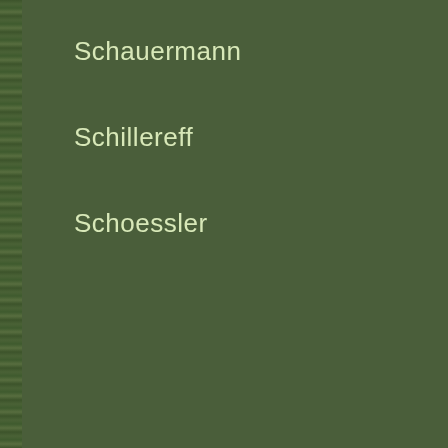Schauermann
Schillereff
Schoessler